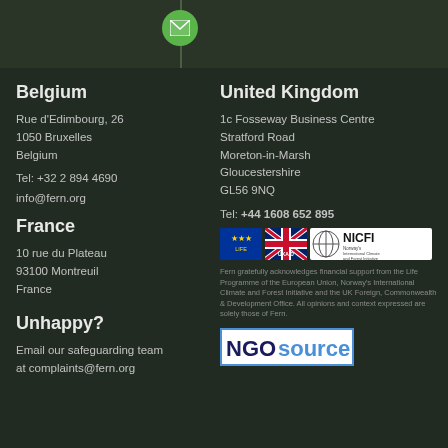[Figure (illustration): Green envelope icon on a circle, with a vertical dark green line to the left, on a dark green background]
Belgium
Rue d'Edimbourg, 26
1050 Bruxelles
Belgium
Tel: +32 2 894 4690
info@fern.org
France
10 rue du Plateau
93100 Montreuil
France
Unhappy?
Email our safeguarding team at complaints@fern.org
United Kingdom
1c Fosseway Business Centre
Stratford Road
Moreton-in-Marsh
Gloucestershire
GL56 9NQ
Tel: +44 1608 652 895
[Figure (logo): EU Life Programme logo, UK Aid logo, and NICFI Norway's International Climate and Forest Initiative logo]
Fern gratefully acknowledges financial support from the Life Programme of the European Union, Norway's International Climate and Forest Initiative and the UK Foreign, Commonwealth & Development Office. All opinions and context expressed are solely those of Fern.
[Figure (logo): NGOsource logo in blue and dark navy]